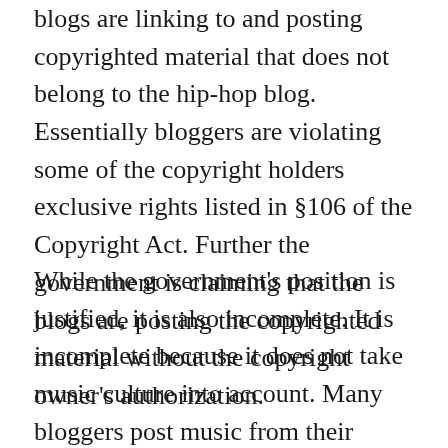blogs are linking to and posting copyrighted material that does not belong to the hip-hop blog.  Essentially bloggers are violating some of the copyright holders exclusive rights listed in §106 of the Copyright Act. Further the government is claiming that the blogs are posting the copyrighted material without the copyright owner's authorization.
While the government's position is justified, it is also incomplete. It is incomplete because it does not take music culture into account. Many bloggers post music from their personal music collection. Frequently this music is not available